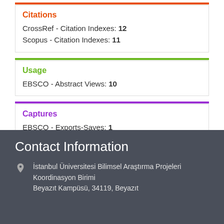Citations
CrossRef - Citation Indexes: 12
Scopus - Citation Indexes: 11
Usage
EBSCO - Abstract Views: 10
Captures
EBSCO - Exports-Saves: 1
Mendeley - Readers: 2
PLUMX - see details
Contact Information
İstanbul Üniversitesi Bilimsel Araştırma Projeleri Koordinasyon Birimi
Beyazıt Kampüsü, 34119, Beyazıt